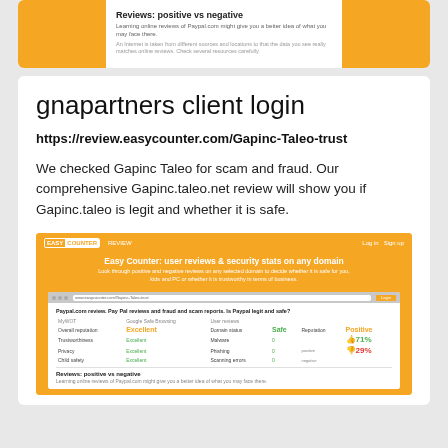[Figure (screenshot): Partial screenshot of EasyCounter review page showing PayPal review with orange side bars]
gnapartners client login
https://review.easycounter.com/Gapinc-Taleo-trust
We checked Gapinc Taleo for scam and fraud. Our comprehensive Gapinc.taleo.net review will show you if Gapinc.taleo is legit and whether it is safe.
[Figure (screenshot): Screenshot of EasyCounter website showing 'Easy Counter: user reviews & security stats on any domain' with a sample Paypal.com review showing Excellent, Safe, Positive ratings with 71% positive and 29% negative user reviews]